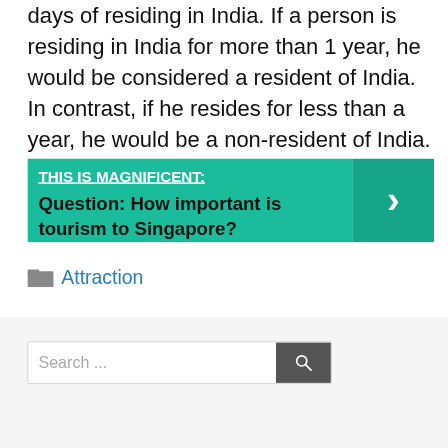days of residing in India. If a person is residing in India for more than 1 year, he would be considered a resident of India. In contrast, if he resides for less than a year, he would be a non-resident of India.
[Figure (infographic): Teal banner with 'THIS IS MAGNIFICENT:' title underlined in white, followed by bold black text 'Question: How important is tourism to Singapore?' and a dark teal right-arrow chevron button on the right side.]
Attraction
[Figure (other): Search bar with placeholder text 'Search ...' and a dark gray search button with magnifying glass icon.]